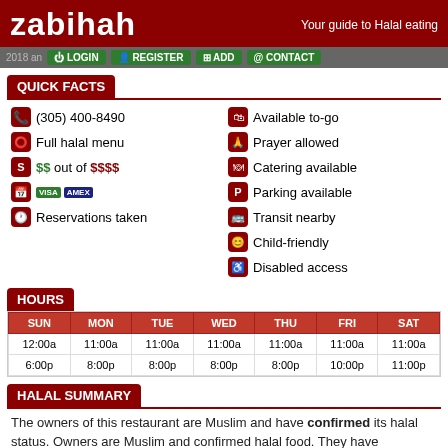zabihah — Your guide to Halal eating
QUICK FACTS
(305) 400-8490
Full halal menu
$$ out of $$$$
Credit cards accepted
Reservations taken
Available to-go
Prayer allowed
Catering available
Parking available
Transit nearby
Child-friendly
Disabled access
HOURS
| SUN | MON | TUE | WED | THU | FRI | SAT |
| --- | --- | --- | --- | --- | --- | --- |
| 12:00a | 11:00a | 11:00a | 11:00a | 11:00a | 11:00a | 11:00a |
| 6:00p | 8:00p | 8:00p | 8:00p | 8:00p | 10:00p | 11:00p |
HALAL SUMMARY
The owners of this restaurant are Muslim and have confirmed its halal status. Owners are Muslim and confirmed halal food. They have certificates available.
ACTIONS